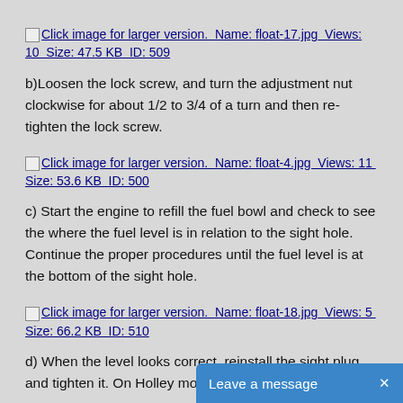[Figure (other): Broken image placeholder link: Click image for larger version. Name: float-17.jpg Views: 10 Size: 47.5 KB ID: 509]
b)Loosen the lock screw, and turn the adjustment nut clockwise for about 1/2 to 3/4 of a turn and then re-tighten the lock screw.
[Figure (other): Broken image placeholder link: Click image for larger version. Name: float-4.jpg Views: 11 Size: 53.6 KB ID: 500]
c) Start the engine to refill the fuel bowl and check to see the where the fuel level is in relation to the sight hole. Continue the proper procedures until the fuel level is at the bottom of the sight hole.
[Figure (other): Broken image placeholder link: Click image for larger version. Name: float-18.jpg Views: 5 Size: 66.2 KB ID: 510]
d) When the level looks correct, reinstall the sight plug and tighten it. On Holley models with si...